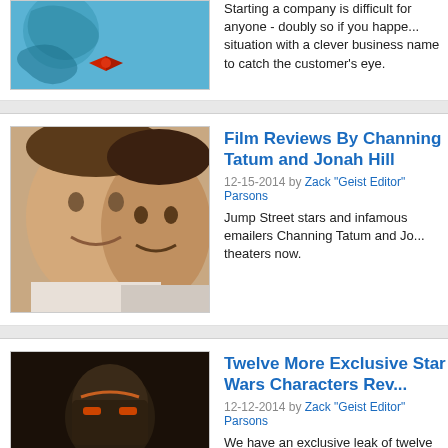[Figure (screenshot): Partial article thumbnail showing cartoon character with red bow tie on blue background]
Starting a company is difficult for anyone - doubly so if you happen... situation with a clever business name to catch the customer's eye.
[Figure (photo): Photo of Channing Tatum and Jonah Hill together, smiling]
Film Reviews By Channing Tatum and Jonah Hill
12-15-2014 by Zack "Geist Editor" Parsons
Jump Street stars and infamous emailers Channing Tatum and Jo... theaters now.
[Figure (photo): Dark photo of a robot-like or armored figure]
Twelve More Exclusive Star Wars Characters Re...
12-12-2014 by Zack "Geist Editor" Parsons
We have an exclusive leak of twelve more Star Wars character ca...
[Figure (photo): Photo of person in yellow hat and costume holding a bottle]
Super Sloppy CIA Torture
12-11-2014 by By Agony Innovations, Inc.
One CIA operative finds fault with his colleague's whimsical versio...